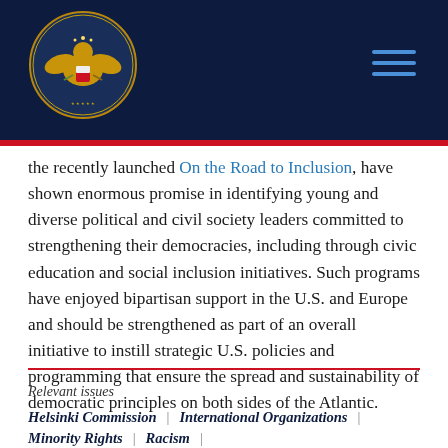Commission on Security and Cooperation in Europe
the recently launched On the Road to Inclusion, have shown enormous promise in identifying young and diverse political and civil society leaders committed to strengthening their democracies, including through civic education and social inclusion initiatives. Such programs have enjoyed bipartisan support in the U.S. and Europe and should be strengthened as part of an overall initiative to instill strategic U.S. policies and programming that ensure the spread and sustainability of democratic principles on both sides of the Atlantic.
Relevant issues
Helsinki Commission | International Organizations | Minority Rights | Racism